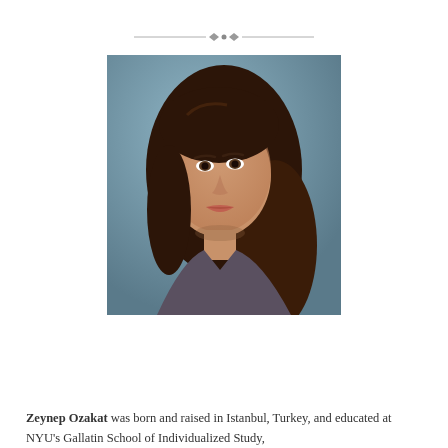[Figure (other): Decorative divider ornament with two diamond shapes and horizontal lines]
[Figure (photo): Portrait photograph of Zeynep Ozakat, a young woman with long dark brown wavy hair, looking slightly to the side, against a blue-gray background]
Zeynep Ozakat was born and raised in Istanbul, Turkey, and educated at NYU's Gallatin School of Individualized Study,